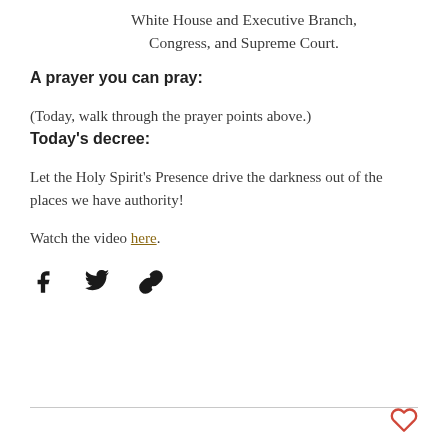White House and Executive Branch, Congress, and Supreme Court.
A prayer you can pray:
(Today, walk through the prayer points above.)
Today’s decree:
Let the Holy Spirit’s Presence drive the darkness out of the places we have authority!
Watch the video here.
[Figure (infographic): Social sharing icons: Facebook, Twitter, and link/chain icon]
[Figure (illustration): Heart icon (like button) in red outline]